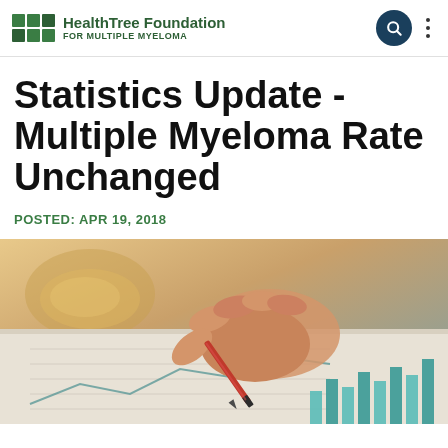HealthTree Foundation FOR MULTIPLE MYELOMA
Statistics Update - Multiple Myeloma Rate Unchanged
POSTED: APR 19, 2018
[Figure (photo): Close-up photo of a hand holding a red pencil writing on charts/graphs with bar chart data visible at the bottom, warm tones with blurred background showing a bowl.]